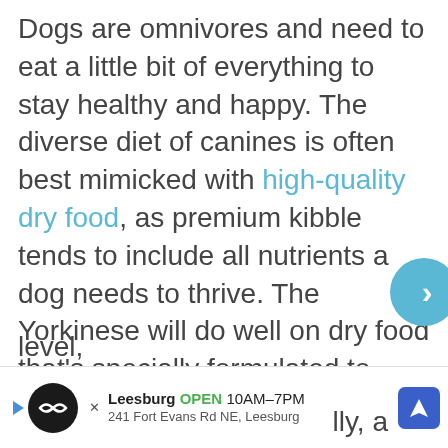Dogs are omnivores and need to eat a little bit of everything to stay healthy and happy. The diverse diet of canines is often best mimicked with high-quality dry food, as premium kibble tends to include all nutrients a dog needs to thrive. The Yorkinese will do well on dry food that's specially formulated to meet his own unique dietary requirements. Choose kibble that's made from premium or human-grade ingredients, and avoid cheap foods full of fillers and additives. In addition, the food you choose for your Yorkinese should suit their size, activity level, [ad overlay] lly, a